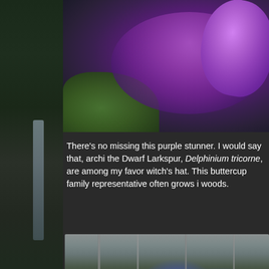[Figure (photo): Close-up macro photograph of a purple Dwarf Larkspur (Delphinium tricorne) flower with vivid violet petals against a dark blurred background with some green foliage visible.]
There's no missing this purple stunner. I would say that, archi the Dwarf Larkspur, Delphinium tricorne, are among my favor witch's hat. This buttercup family representative often grows i woods.
[Figure (photo): Wide-angle photograph of a woodland floor scene showing blue larkspur flowers (Delphinium tricorne) and yellow buttercup flowers growing among dead leaves and bare tree trunks in a forest setting.]